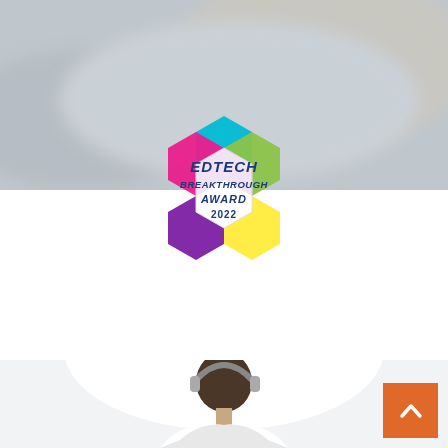[Figure (photo): Blurred background photo showing hands on a laptop/tablet, gray-beige tones]
[Figure (logo): EdTech Breakthrough Award 2022 logo — colorful hexagon shapes (cyan, green, yellow, magenta, purple) surrounding white hexagon center with dark blue text: EDTECH BREAKTHROUGH AWARD 2022]
[Figure (photo): Bottom portion showing a person (student) with headphones, white background, partially visible]
[Figure (other): Orange square scroll-to-top button with upward chevron arrow in bottom-right corner]